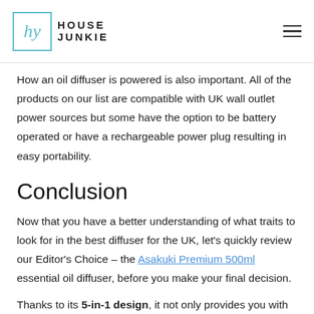House Junkie
How an oil diffuser is powered is also important. All of the products on our list are compatible with UK wall outlet power sources but some have the option to be battery operated or have a rechargeable power plug resulting in easy portability.
Conclusion
Now that you have a better understanding of what traits to look for in the best diffuser for the UK, let's quickly review our Editor's Choice – the Asakuki Premium 500ml essential oil diffuser, before you make your final decision.
Thanks to its 5-in-1 design, it not only provides you with the option of aromatherapy but is also able to purify and